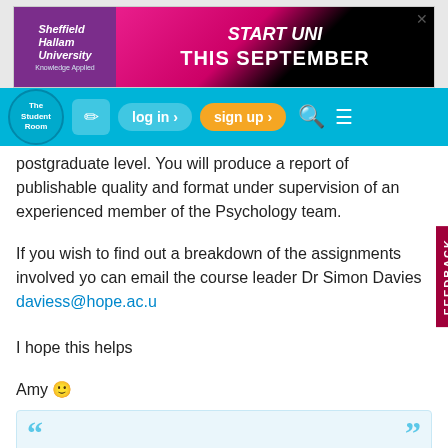[Figure (screenshot): Sheffield Hallam University advertisement banner: START UNI THIS SEPTEMBER]
[Figure (screenshot): The Student Room navigation bar with log in, sign up, search and menu icons]
postgraduate level. You will produce a report of publishable quality and format under supervision of an experienced member of the Psychology team.
If you wish to find out a breakdown of the assignments involved you can email the course leader Dr Simon Davies daviess@hope.ac.uk
I hope this helps
Amy 🙂
(Original post by Ryan__90)
thinking about going there next year to study this so would appreciate answers relating to work load ?